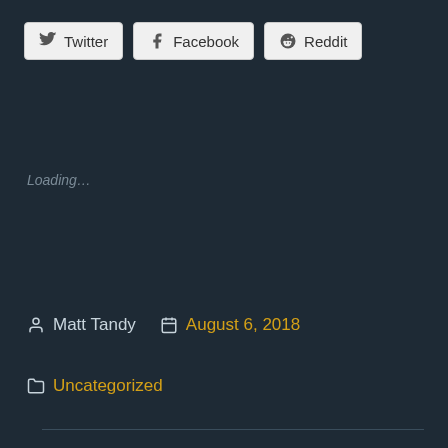[Figure (infographic): Share buttons for Twitter, Facebook, and Reddit]
Loading...
Matt Tandy   August 6, 2018
Uncategorized